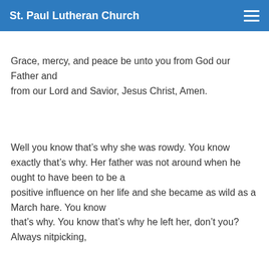St. Paul Lutheran Church
Grace, mercy, and peace be unto you from God our Father and from our Lord and Savior, Jesus Christ, Amen.
Well you know that’s why she was rowdy. You know exactly that’s why. Her father was not around when he ought to have been to be a positive influence on her life and she became as wild as a March hare. You know that’s why. You know that’s why he left her, don’t you? Always nitpicking,